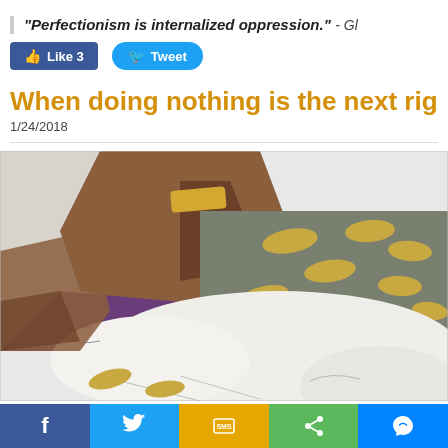"Perfectionism is internalized oppression." - Gl
Like 3   Tweet
When doing nothing is the next right thi
1/24/2018
[Figure (illustration): Hand-drawn watercolor sketch showing a person lying in bed, viewed from above. The bedding includes a brown headboard, white pillow, gray blanket with yellow spots, and purple sheet visible underneath. Loose sketchy pen lines with watercolor washes.]
f  Twitter  SMS  Share  Messenger